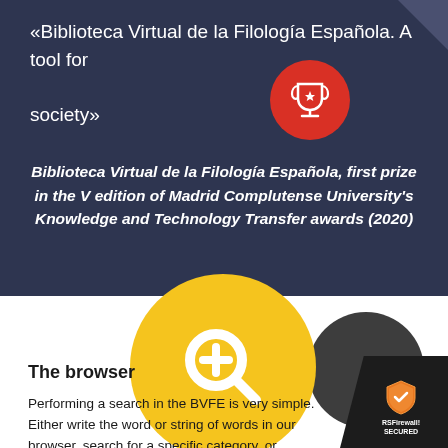«Biblioteca Virtual de la Filología Española. A tool for society»
Biblioteca Virtual de la Filología Española, first prize in the V edition of Madrid Complutense University's Knowledge and Technology Transfer awards (2020)
[Figure (illustration): Large yellow circle with white magnifier/search icon overlapping a dark grey partial circle, forming a decorative search graphic]
The browser
Performing a search in the BVFE is very simple. Either write the word or string of words in our browser, search for a specific category, or
[Figure (logo): RSFirewall! SECURED badge in bottom right corner]